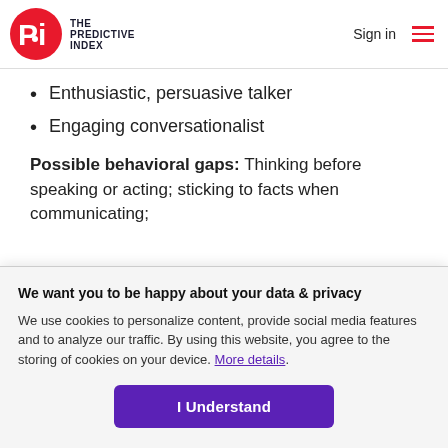THE PREDICTIVE INDEX | Sign in
Enthusiastic, persuasive talker
Engaging conversationalist
Possible behavioral gaps: Thinking before speaking or acting; sticking to facts when communicating;
We want you to be happy about your data & privacy
We use cookies to personalize content, provide social media features and to analyze our traffic. By using this website, you agree to the storing of cookies on your device. More details.
I Understand